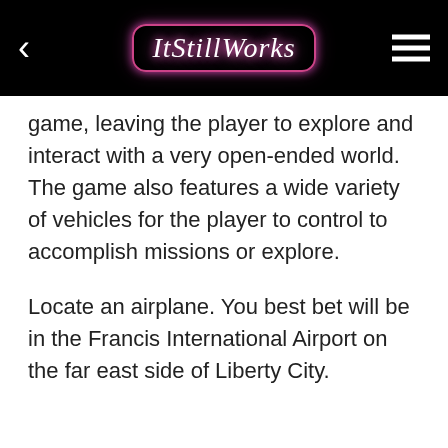ItStillWorks
game, leaving the player to explore and interact with a very open-ended world. The game also features a wide variety of vehicles for the player to control to accomplish missions or explore.
Locate an airplane. You best bet will be in the Francis International Airport on the far east side of Liberty City.